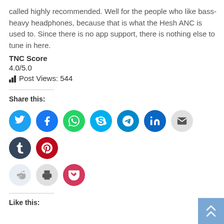called highly recommended. Well for the people who like bass-heavy headphones, because that is what the Hesh ANC is used to. Since there is no app support, there is nothing else to tune in here.
TNC Score
4.0/5.0
Post Views: 544
Share this:
[Figure (infographic): Social sharing buttons: Twitter, Facebook, WhatsApp, Skype, Telegram, LinkedIn, Email, Tumblr, Pinterest (top row); Reddit, Print, Pocket (bottom row)]
Like this: